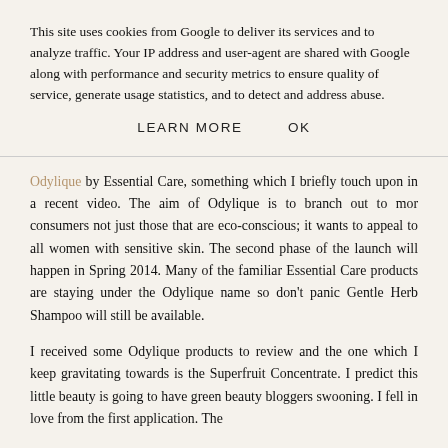This site uses cookies from Google to deliver its services and to analyze traffic. Your IP address and user-agent are shared with Google along with performance and security metrics to ensure quality of service, generate usage statistics, and to detect and address abuse.
LEARN MORE    OK
Odylique by Essential Care, something which I briefly touch upon in a recent video. The aim of Odylique is to branch out to mor consumers not just those that are eco-conscious; it wants to appeal to all women with sensitive skin. The second phase of the launch will happen in Spring 2014. Many of the familiar Essential Care products are staying under the Odylique name so don't panic Gentle Herb Shampoo will still be available.
I received some Odylique products to review and the one which I keep gravitating towards is the Superfruit Concentrate. I predict this little beauty is going to have green beauty bloggers swooning. I fell in love from the first application. The